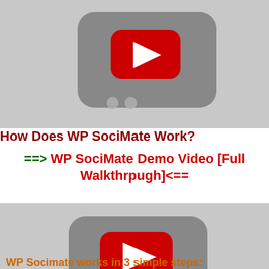[Figure (screenshot): YouTube video thumbnail placeholder - top, cropped at top showing YouTube play button icon on grey background]
How Does WP SociMate Work?
==> WP SociMate Demo Video [Full Walkthrpugh]<==
[Figure (screenshot): YouTube video thumbnail placeholder - showing YouTube play button icon centered on grey background]
WP Socimate works in 3 simple steps: